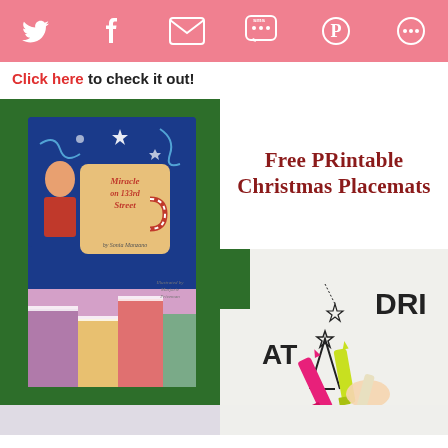[Figure (infographic): Pink header bar with social media sharing icons: Twitter bird, Facebook F, email envelope, SMS speech bubble, Pinterest P, and a share/more icon]
Click here to check it out!
[Figure (photo): Book cover of 'Miracle on 133rd Street' by Sonia Manzano, illustrated by Marjorie Priceman, placed on a green background]
Free PRintable Christmas Placemats
[Figure (photo): Close-up photo of a child's hand holding crayons on a printable Christmas placemat with outlines of Christmas trees and text letters EAT and DRI visible]
[Figure (photo): Faded/ghost image below the main content showing partial view of the book cover and placemat]